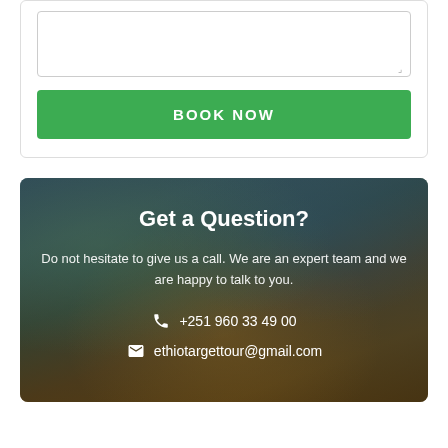[Figure (screenshot): Textarea form input with resize handle at bottom right]
BOOK NOW
Get a Question?
Do not hesitate to give us a call. We are an expert team and we are happy to talk to you.
+251 960 33 49 00
ethiotargettour@gmail.com